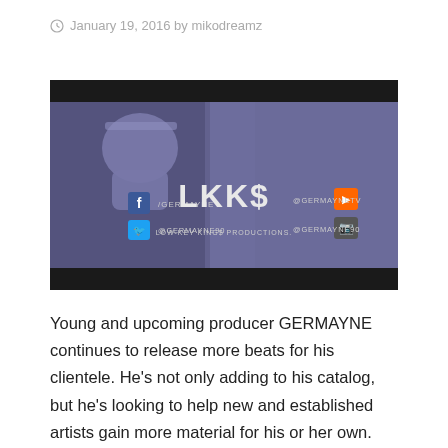January 19, 2016 by mikodreamz
[Figure (screenshot): Video thumbnail for GERMAYNE LKK$ (Low-Key King$ Productions) showing a person with hands over face, with social media handles: /GERMAYNE on Facebook, @GERMAYNETV on SoundCloud, @GERMAYNE90 on Twitter and Instagram]
Young and upcoming producer GERMAYNE continues to release more beats for his clientele. He's not only adding to his catalog, but he's looking to help new and established artists gain more material for his or her own.